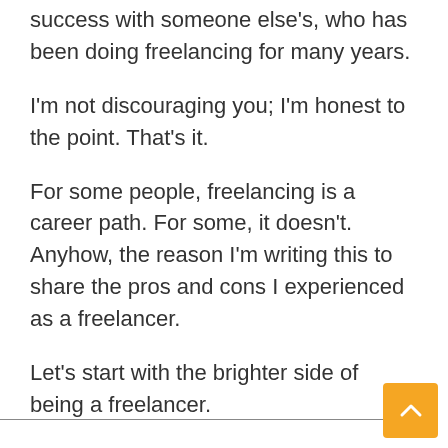success with someone else's, who has been doing freelancing for many years.
I'm not discouraging you; I'm honest to the point. That's it.
For some people, freelancing is a career path. For some, it doesn't. Anyhow, the reason I'm writing this to share the pros and cons I experienced as a freelancer.
Let's start with the brighter side of being a freelancer.